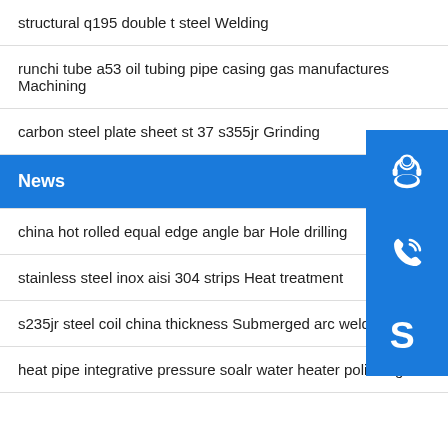structural q195 double t steel Welding
runchi tube a53 oil tubing pipe casing gas manufactures Machining
carbon steel plate sheet st 37 s355jr Grinding
News
china hot rolled equal edge angle bar Hole drilling
stainless steel inox aisi 304 strips Heat treatment
s235jr steel coil china thickness Submerged arc welding
heat pipe integrative pressure soalr water heater polishing